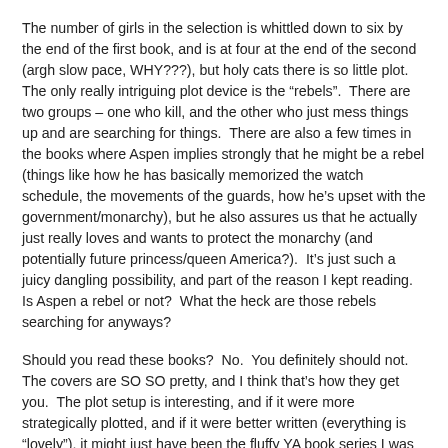The number of girls in the selection is whittled down to six by the end of the first book, and is at four at the end of the second (argh slow pace, WHY???), but holy cats there is so little plot.  The only really intriguing plot device is the “rebels”.  There are two groups – one who kill, and the other who just mess things up and are searching for things.  There are also a few times in the books where Aspen implies strongly that he might be a rebel (things like how he has basically memorized the watch schedule, the movements of the guards, how he’s upset with the government/monarchy), but he also assures us that he actually just really loves and wants to protect the monarchy (and potentially future princess/queen America?).  It’s just such a juicy dangling possibility, and part of the reason I kept reading.  Is Aspen a rebel or not?  What the heck are those rebels searching for anyways?
Should you read these books?  No.  You definitely should not.  The covers are SO SO pretty, and I think that’s how they get you.  The plot setup is interesting, and if it were more strategically plotted, and if it were better written (everything is “lovely”), it might just have been the fluffy YA book series I was looking for.  But by trying to be dystopian, and by forcing a love triangle that requires